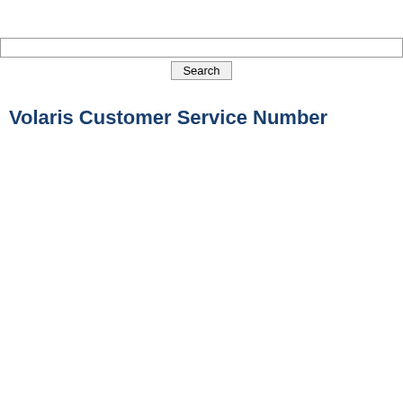Volaris Customer Service Number